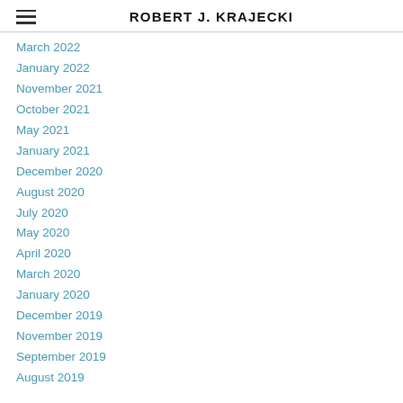ROBERT J. KRAJECKI
March 2022
January 2022
November 2021
October 2021
May 2021
January 2021
December 2020
August 2020
July 2020
May 2020
April 2020
March 2020
January 2020
December 2019
November 2019
September 2019
August 2019